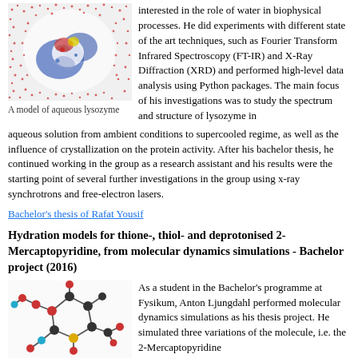[Figure (illustration): A model of aqueous lysozyme — protein structure surrounded by water molecules shown as scattered dots]
A model of aqueous lysozyme
interested in the role of water in biophysical processes. He did experiments with different state of the art techniques, such as Fourier Transform Infrared Spectroscopy (FT-IR) and X-Ray Diffraction (XRD) and performed high-level data analysis using Python packages. The main focus of his investigations was to study the spectrum and structure of lysozyme in aqueous solution from ambient conditions to supercooled regime, as well as the influence of crystallization on the protein activity. After his bachelor thesis, he continued working in the group as a research assistant and his results were the starting point of several further investigations in the group using x-ray synchrotrons and free-electron lasers.
Bachelor's thesis of Rafat Yousif
Hydration models for thione-, thiol- and deprotonised 2-Mercaptopyridine, from molecular dynamics simulations - Bachelor project (2016)
[Figure (illustration): Molecular structure model of 2-Mercaptopyridine showing atoms as colored spheres connected by bonds]
As a student in the Bachelor's programme at Fysikum, Anton Ljungdahl performed molecular dynamics simulations as his thesis project. He simulated three variations of the molecule, i.e. the 2-Mercaptopyridine